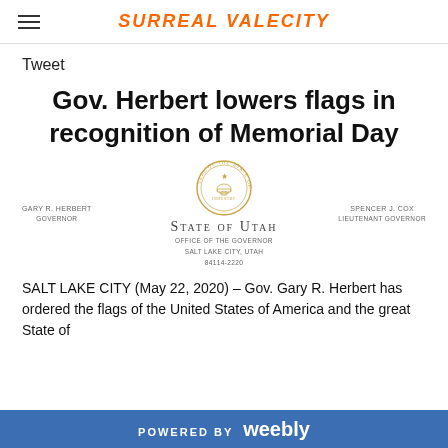SURREAL VALECITY
Tweet
Gov. Herbert lowers flags in recognition of Memorial Day
[Figure (illustration): State of Utah Office of the Governor seal and letterhead with Gary R. Herbert, Governor on the left and Spencer J. Cox, Lieutenant Governor on the right. Salt Lake City, Utah 84114-2220]
SALT LAKE CITY (May 22, 2020) – Gov. Gary R. Herbert has ordered the flags of the United States of America and the great State of
POWERED BY weebly